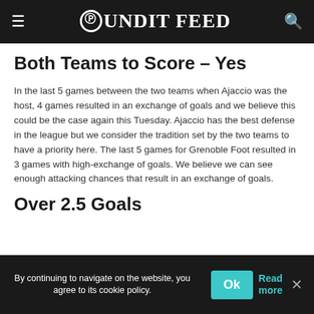Pundit Feed
Both Teams to Score – Yes
In the last 5 games between the two teams when Ajaccio was the host, 4 games resulted in an exchange of goals and we believe this could be the case again this Tuesday. Ajaccio has the best defense in the league but we consider the tradition set by the two teams to have a priority here. The last 5 games for Grenoble Foot resulted in 3 games with high-exchange of goals. We believe we can see enough attacking chances that result in an exchange of goals.
Over 2.5 Goals
By continuing to navigate on the website, you agree to its cookie policy.